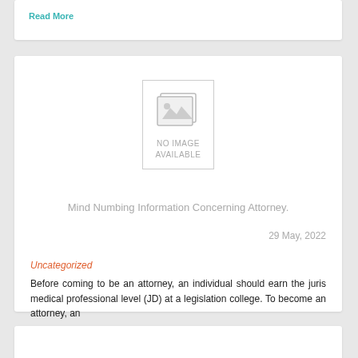Read More
[Figure (other): No image available placeholder with a grey image icon showing stacked photo frames]
Mind Numbing Information Concerning Attorney.
29 May, 2022
Uncategorized
Before coming to be an attorney, an individual should earn the juris medical professional level (JD) at a legislation college. To become an attorney, an
Read More